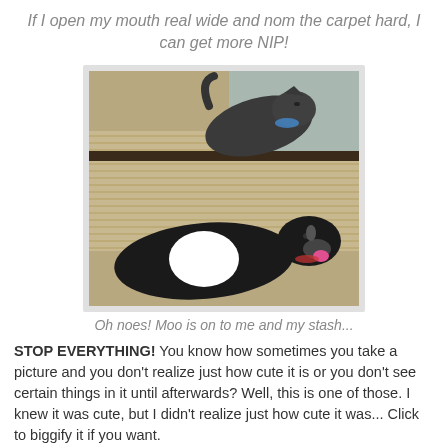If I open my mouth real wide and nom the carpet hard, I can get more NIP!
[Figure (photo): Two cats near a cardboard scratching pad. One dark tabby cat on top, one black and white cat below with a pink tongue visible.]
Oh noes! Moo is on to me and my stash...
STOP EVERYTHING! You know how sometimes you take a picture and you don't realize just how cute it is or you don't see certain things in it until afterwards? Well, this is one of those. I knew it was cute, but I didn't realize just how cute it was... Click to biggify it if you want.
[Figure (photo): Partial photo of cats, cropped at bottom of page.]